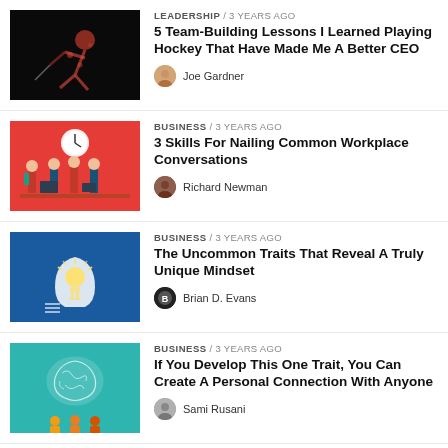[Figure (other): Article thumbnail: hockey player silhouette on black background]
LEADERSHIP / 3 years ago
5 Team-Building Lessons I Learned Playing Hockey That Have Made Me A Better CEO
Joe Gardner
[Figure (other): Article thumbnail: red background with cartoon office workers]
BUSINESS / 3 years ago
3 Skills For Nailing Common Workplace Conversations
Richard Newman
[Figure (other): Article thumbnail: dark blue background with glowing lightbulb head illustration]
BUSINESS / 3 years ago
The Uncommon Traits That Reveal A Truly Unique Mindset
Brian D. Evans
[Figure (other): Article thumbnail: teal background with brain/maze illustration and silhouette figures]
BUSINESS / 3 years ago
If You Develop This One Trait, You Can Create A Personal Connection With Anyone
Sami Rusani
[Figure (other): Article thumbnail: colorful fingerprint illustration]
BUSINESS / 3 years ago
How You Can Make Privacy A Core Principle Of Your Business—And Why You Should